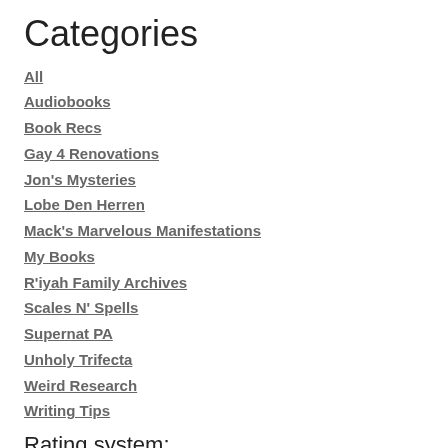Categories
All
Audiobooks
Book Recs
Gay 4 Renovations
Jon's Mysteries
Lobe Den Herren
Mack's Marvelous Manifestations
My Books
R'iyah Family Archives
Scales N' Spells
Supernat PA
Unholy Trifecta
Weird Research
Writing Tips
Rating system: